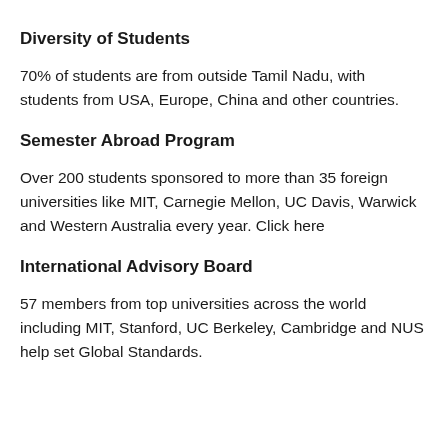Diversity of Students
70% of students are from outside Tamil Nadu, with students from USA, Europe, China and other countries.
Semester Abroad Program
Over 200 students sponsored to more than 35 foreign universities like MIT, Carnegie Mellon, UC Davis, Warwick and Western Australia every year. Click here
International Advisory Board
57 members from top universities across the world including MIT, Stanford, UC Berkeley, Cambridge and NUS help set Global Standards.